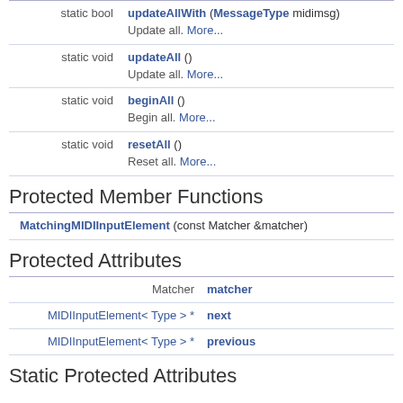| type | function/description |
| --- | --- |
| static bool | updateAllWith (MessageType midimsg)
Update all. More... |
| static void | updateAll ()
Update all. More... |
| static void | beginAll ()
Begin all. More... |
| static void | resetAll ()
Reset all. More... |
Protected Member Functions
| function |
| --- |
| MatchingMIDIInputElement (const Matcher &matcher) |
Protected Attributes
| type | name |
| --- | --- |
| Matcher | matcher |
| MIDIInputElement< Type > * | next |
| MIDIInputElement< Type > * | previous |
Static Protected Attributes